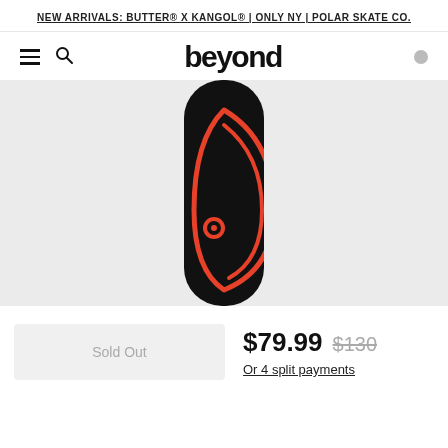NEW ARRIVALS: BUTTER® X KANGOL® | ONLY NY | POLAR SKATE CO.
beyond
[Figure (photo): Close-up top view of a black skateboard deck with a red hand-drawn cartoon character graphic on a light grey background.]
Sold Out
$79.99  $130
Or 4 split payments